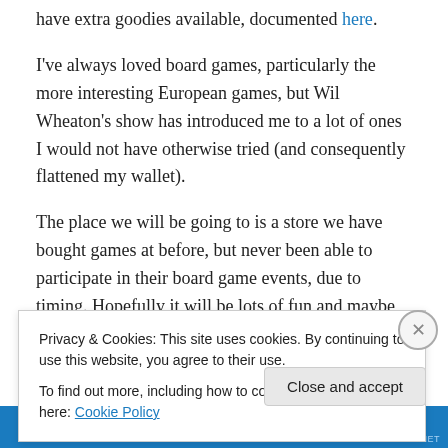have extra goodies available, documented here.
I've always loved board games, particularly the more interesting European games, but Wil Wheaton's show has introduced me to a lot of ones I would not have otherwise tried (and consequently flattened my wallet).
The place we will be going to is a store we have bought games at before, but never been able to participate in their board game events, due to timing. Hopefully it will be lots of fun and maybe we will even make some new friends who don't live horribly far away 😉
Privacy & Cookies: This site uses cookies. By continuing to use this website, you agree to their use.
To find out more, including how to control cookies, see here: Cookie Policy